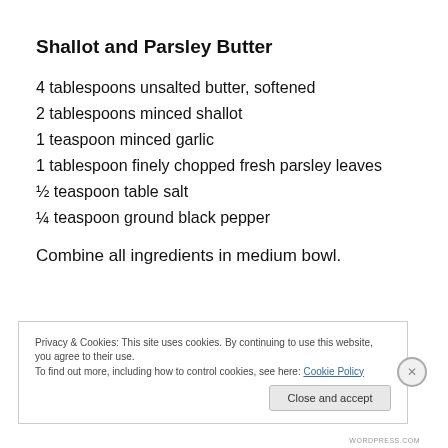Shallot and Parsley Butter
4 tablespoons unsalted butter, softened
2 tablespoons minced shallot
1 teaspoon minced garlic
1 tablespoon finely chopped fresh parsley leaves
½ teaspoon table salt
¼ teaspoon ground black pepper
Combine all ingredients in medium bowl.
Privacy & Cookies: This site uses cookies. By continuing to use this website, you agree to their use. To find out more, including how to control cookies, see here: Cookie Policy
WORDPRESS.COM